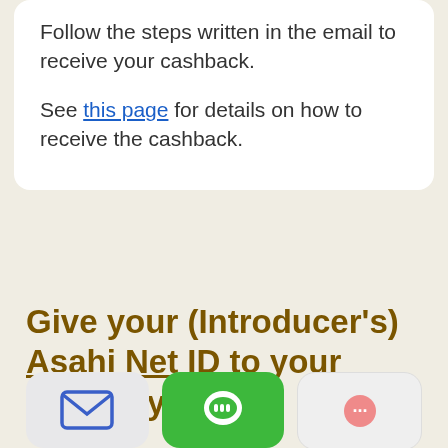Follow the steps written in the email to receive your cashback.

See this page for details on how to receive the cashback.
Give your (Introducer's) Asahi Net ID to your friend by:
[Figure (illustration): Three app-style icon boxes partially visible at the bottom: a gray box with an email/envelope icon (blue outline), a green box with a LINE app icon (white face/chat), and a light gray box with a pink/red circular icon.]